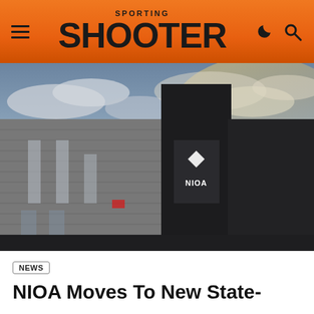SPORTING SHOOTER
[Figure (photo): Low-angle exterior shot of a modern industrial building with dark cladding panels and vertical window strips at dusk. A sign reading 'NIOA' with a diamond-shaped logo is visible on the taller section of the building. Cloudy sky with warm sunset tones in the background.]
NEWS
NIOA Moves To New State-